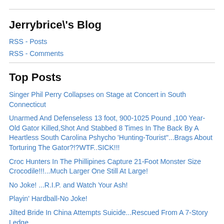Jerrybrice\'s Blog
RSS - Posts
RSS - Comments
Top Posts
Singer Phil Perry Collapses on Stage at Concert in South Connecticut
Unarmed And Defenseless 13 foot, 900-1025 Pound ,100 Year-Old Gator Killed,Shot And Stabbed 8 Times In The Back By A Heartless South Carolina Pshycho 'Hunting-Tourist"...Brags About Torturing The Gator?!?WTF..SICK!!!
Croc Hunters In The Phillipines Capture 21-Foot Monster Size Crocodile!!!...Much Larger One Still At Large!
No Joke! ...R.I.P. and Watch Your Ash!
Playin' Hardball-No Joke!
Jilted Bride In China Attempts Suicide...Rescued From A 7-Story Ledge